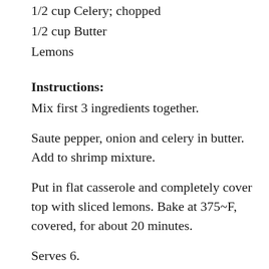1/2 cup Celery; chopped
1/2 cup Butter
Lemons
Instructions:
Mix first 3 ingredients together.
Saute pepper, onion and celery in butter. Add to shrimp mixture.
Put in flat casserole and completely cover top with sliced lemons. Bake at 375~F, covered, for about 20 minutes.
Serves 6.